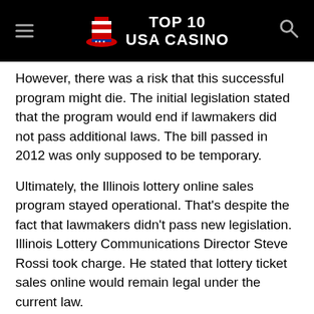TOP 10 USA CASINO
However, there was a risk that this successful program might die. The initial legislation stated that the program would end if lawmakers did not pass additional laws. The bill passed in 2012 was only supposed to be temporary.
Ultimately, the Illinois lottery online sales program stayed operational. That's despite the fact that lawmakers didn't pass new legislation. Illinois Lottery Communications Director Steve Rossi took charge. He stated that lottery ticket sales online would remain legal under the current law.
New Hampshire Online Lottery
New Hampshire legalized its online lottery in the summer